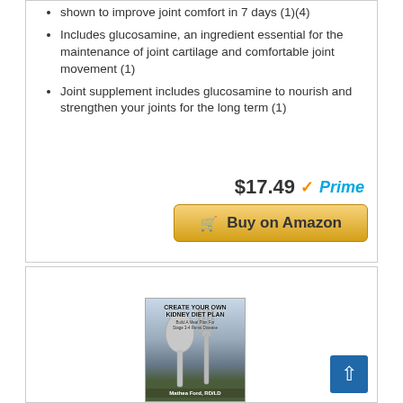shown to improve joint comfort in 7 days (1)(4)
Includes glucosamine, an ingredient essential for the maintenance of joint cartilage and comfortable joint movement (1)
Joint supplement includes glucosamine to nourish and strengthen your joints for the long term (1)
$17.49 ✓Prime
Buy on Amazon
BESTSELLER NO. 15
[Figure (photo): Book cover of 'Create Your Own Kidney Diet Plan' by Mathea Ford, RD/LD, showing cutlery on a napkin background]